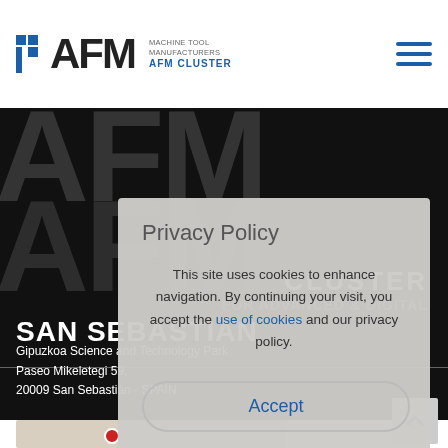AFM MACHINE TOOL MANUFACTURERS AFM CLUSTER
[Figure (screenshot): Hero background with large AFM letters and CLUSTER FOR ADVANCED & DIGITAL text overlay on black background]
SAN SEBASTIÁN
Gipuzkoa Science and Technology Park
Paseo Mikeletegi 59,
20009 San Sebastián - SPAIN
[Figure (map): Map showing location in San Sebastián area]
Privacy Policy
This site uses cookies to enhance navigation. By continuing your visit, you accept the use of cookies and our privacy policy.
Accept